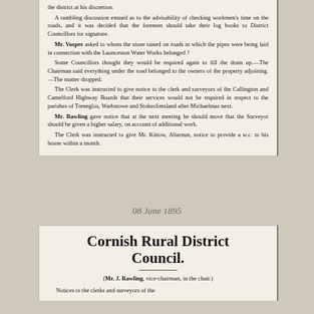the district at his discretion. A rambling discussion ensued as to the advisability of checking workmen's time on the roads, and it was decided that the foremen should take their log books to District Councillors for signature. Mr. Vosper asked to whom the stone raised on roads in which the pipes were being laid in connection with the Launceston Water Works belonged? Some Councillors thought they would be required again to fill the drain up.—The Chairman said everything under the road belonged to the owners of the property adjoining.—The matter dropped. The Clerk was instructed to give notice to the clerk and surveyors of the Callington and Camelford Highway Boards that their services would not be required in respect to the parishes of Treneglos, Warbstowe and Stokeclimsland after Michaelmas next. Mr. Rawling gave notice that at the next meeting he should move that the Surveyor should be given a higher salary, on account of additional work. The Clerk was instructed to give Mr. Kittow, Altarnun, notice to provide a w.c. to his house within a month.
08 June 1895
Cornish Rural District Council.
(Mr. J. Rawling, vice-chairman, in the chair.) Notices to the clerks and surveyors of the